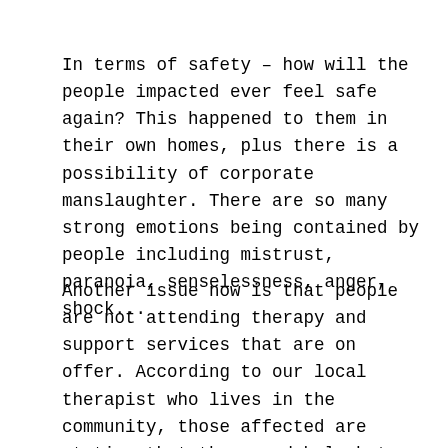In terms of safety – how will the people impacted ever feel safe again? This happened to them in their own homes, plus there is a possibility of corporate manslaughter. There are so many strong emotions being contained by people including mistrust, paranoia, senselessness, anger, shock...
Another issue now is that people are not attending therapy and support services that are on offer. According to our local therapist who lives in the community, those affected are stating that they need help but that they cannot access services. Maybe there are issues about the services on offer. We are hoping to change the time of our group and location